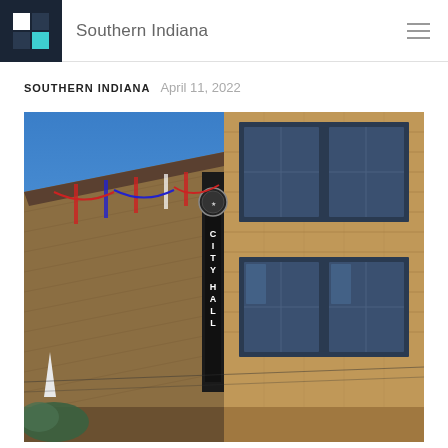Southern Indiana
SOUTHERN INDIANA   April 11, 2022
[Figure (photo): Exterior photo of a brick City Hall building with a vertical 'CITY HALL' sign and decorative banners, taken from a low angle against a blue sky]